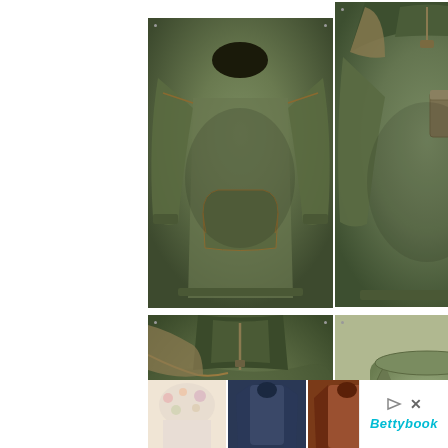[Figure (photo): Four product images in a 2x2 grid: top-left shows an olive/army green crewneck sweatshirt with kangaroo pocket and contrast stitching; top-right shows an olive green quarter-zip tactical shirt with chest pocket and stand collar; bottom-left shows a close-up of a dark olive quarter-zip pullover collar and shoulder area; bottom-right shows an olive/khaki tactical military backpack with straps.]
[Figure (photo): Thumbnail strip of 5 small product images: floral white top, dark blue long coat/dress, rust/burnt orange long coat, yellow/mustard long dress, and sandals on feet.]
[Figure (other): Advertisement area with play button triangle icon, X close button, and 'Bettybook' brand name in teal cursive text.]